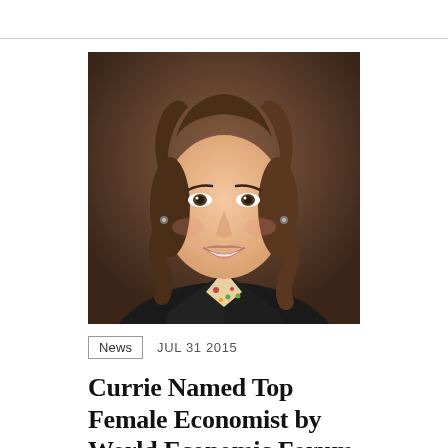[Figure (photo): Professional headshot of a woman with medium-length brown hair, wearing a black blazer over a floral blouse, smiling, against a dark brown background.]
News   JUL 31 2015
Currie Named Top Female Economist by World Economic Forum